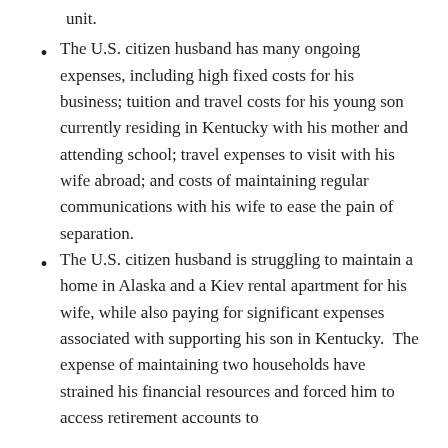unit.
The U.S. citizen husband has many ongoing expenses, including high fixed costs for his business; tuition and travel costs for his young son currently residing in Kentucky with his mother and attending school; travel expenses to visit with his wife abroad; and costs of maintaining regular communications with his wife to ease the pain of separation.
The U.S. citizen husband is struggling to maintain a home in Alaska and a Kiev rental apartment for his wife, while also paying for significant expenses associated with supporting his son in Kentucky.  The expense of maintaining two households have strained his financial resources and forced him to access retirement accounts to